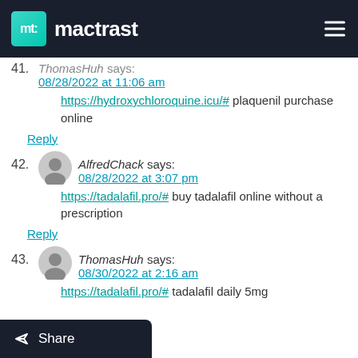mactrast
41. ThomasHuh says:
08/28/2022 at 11:06 am
https://hydroxychloroquine.icu/# plaquenil purchase online
Reply
42. AlfredChack says:
08/28/2022 at 3:07 pm
https://tadalafil.pro/# buy tadalafil online without a prescription
Reply
43. ThomasHuh says:
08/30/2022 at 2:16 am
https://tadalafil.pro/# tadalafil daily 5mg
Share